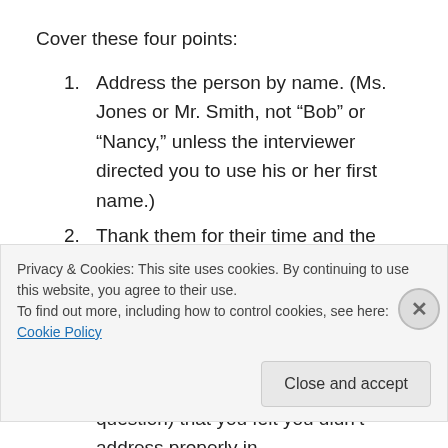Cover these four points:
Address the person by name. (Ms. Jones or Mr. Smith, not “Bob” or “Nancy,” unless the interviewer directed you to use his or her first name.)
Thank them for their time and the opportunity to interview for the (name of position).
Mention one thing from the interview that especially resonated with you, or mention an issue (or answer a question) that you felt you didn’t address properly in the interview… but don’t take an apologetic tone
Privacy & Cookies: This site uses cookies. By continuing to use this website, you agree to their use.
To find out more, including how to control cookies, see here: Cookie Policy